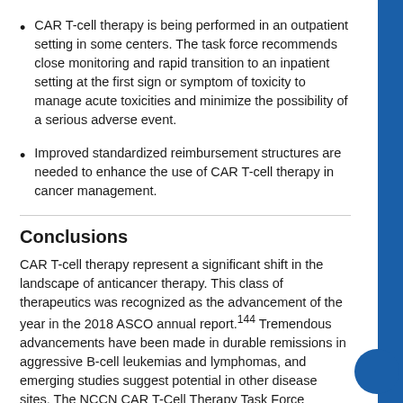CAR T-cell therapy is being performed in an outpatient setting in some centers. The task force recommends close monitoring and rapid transition to an inpatient setting at the first sign or symptom of toxicity to manage acute toxicities and minimize the possibility of a serious adverse event.
Improved standardized reimbursement structures are needed to enhance the use of CAR T-cell therapy in cancer management.
Conclusions
CAR T-cell therapy represent a significant shift in the landscape of anticancer therapy. This class of therapeutics was recognized as the advancement of the year in the 2018 ASCO annual report.144 Tremendous advancements have been made in durable remissions in aggressive B-cell leukemias and lymphomas, and emerging studies suggest potential in other disease sites. The NCCN CAR T-Cell Therapy Task Force discussed these data and identified areas that need to be developed to enhance clinical uptake of this new